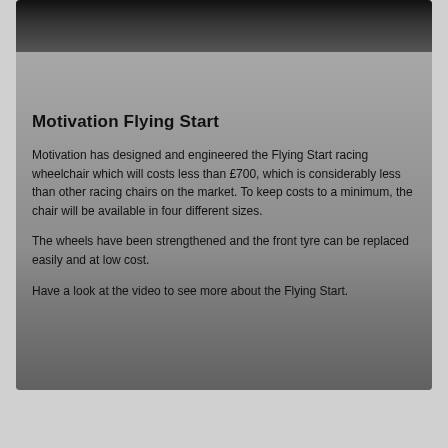[Figure (photo): Grayscale photograph of a racing scene, partially visible at the top of the card, showing dark/black tones.]
Motivation Flying Start
Motivation has designed and engineered the Flying Start racing wheelchair which will costs less than £700, which is considerably less than other racing chairs on the market. To keep costs to a minimum, the chair will be available in four different sizes.
The wheels have been strengthened and the front tyre can be replaced easily and at low cost.
Have a look at the video to see more about the Flying Start.